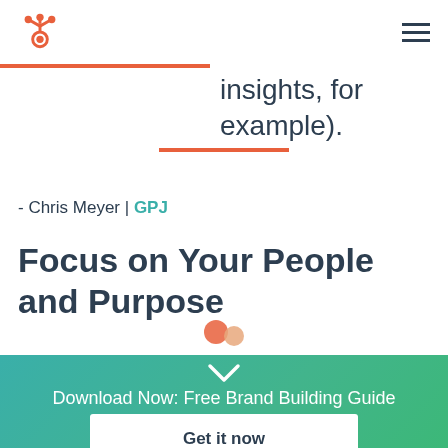HubSpot
insights, for example).
- Chris Meyer | GPJ
Focus on Your People and Purpose
Download Now: Free Brand Building Guide
Get it now